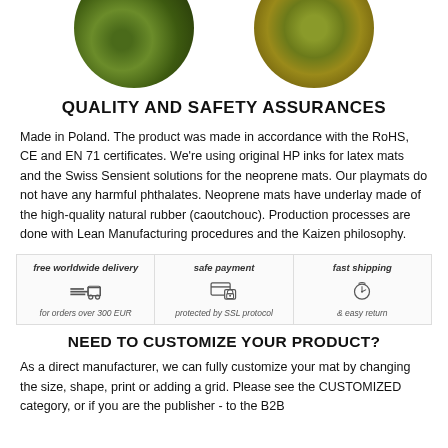[Figure (illustration): Two circular images at the top: left shows green moss/grass texture, right shows olive/yellow-green dried grass texture. Both circles are partially cropped at the top.]
QUALITY AND SAFETY ASSURANCES
Made in Poland. The product was made in accordance with the RoHS, CE and EN 71 certificates. We're using original HP inks for latex mats and the Swiss Sensient solutions for the neoprene mats. Our playmats do not have any harmful phthalates. Neoprene mats have underlay made of the high-quality natural rubber (caoutchouc). Production processes are done with Lean Manufacturing procedures and the Kaizen philosophy.
[Figure (infographic): Three badges in a row: 'free worldwide delivery' with delivery truck icon and text 'for orders over 300 EUR'; 'safe payment' with card/lock icon and text 'protected by SSL protocol'; 'fast shipping' with stopwatch icon and text '& easy return']
NEED TO CUSTOMIZE YOUR PRODUCT?
As a direct manufacturer, we can fully customize your mat by changing the size, shape, print or adding a grid. Please see the CUSTOMIZED category, or if you are the publisher - to the B2B